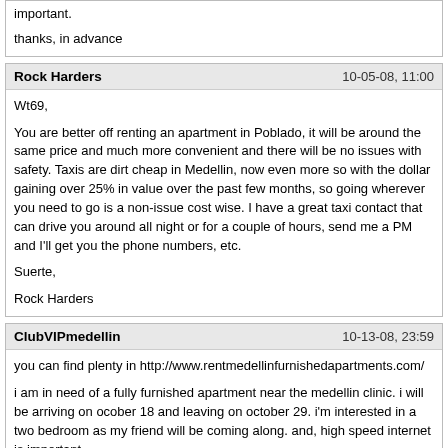important.

thanks, in advance
Rock Harders
10-05-08, 11:00
Wt69,

You are better off renting an apartment in Poblado, it will be around the same price and much more convenient and there will be no issues with safety. Taxis are dirt cheap in Medellin, now even more so with the dollar gaining over 25% in value over the past few months, so going wherever you need to go is a non-issue cost wise. I have a great taxi contact that can drive you around all night or for a couple of hours, send me a PM and I'll get you the phone numbers, etc.

Suerte,

Rock Harders
ClubVIPmedellin
10-13-08, 23:59
you can find plenty in http://www.rentmedellinfurnishedapartments.com/

i am in need of a fully furnished apartment near the medellin clinic. i will be arriving on ocober 18 and leaving on october 29. i'm interested in a two bedroom as my friend will be coming along. and, high speed internet is important.

thanks, in advance
World Travel 69
10-14-08, 16:10
I redid you information on the List. Is this the way you would like it?